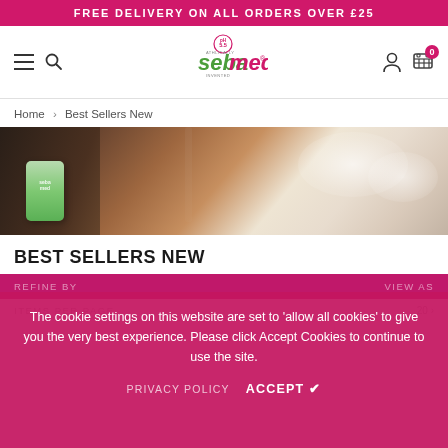FREE DELIVERY ON ALL ORDERS OVER £25
[Figure (logo): Sebamed pH 5.5 logo in green and pink/red text]
Home > Best Sellers New
[Figure (photo): Hands being washed with soap and water, Sebamed green soap bar visible on left]
BEST SELLERS NEW
The cookie settings on this website are set to 'allow all cookies' to give you the very best experience. Please click Accept Cookies to continue to use the site.
PRIVACY POLICY   ACCEPT ✔
REFINE BY
VIEW AS
ITEMS PER PAGE   20